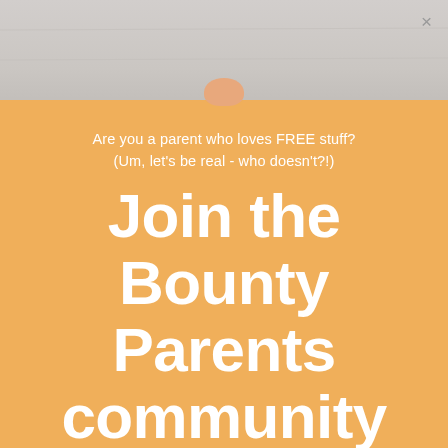[Figure (photo): Background photo showing a light gray/white surface with a partial view of what appears to be a baby or infant, with a close button (×) in the top right corner]
Are you a parent who loves FREE stuff? (Um, let's be real - who doesn't?!)
Join the Bounty Parents community and be rewarded!